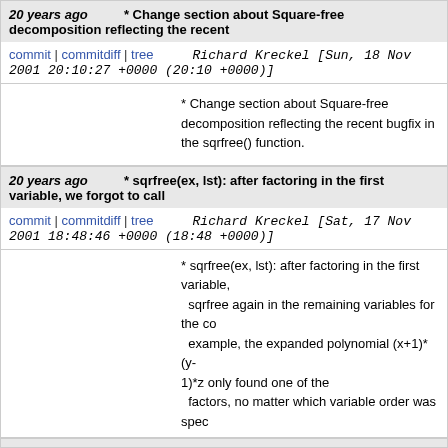20 years ago * Change section about Square-free decomposition reflecting the recent
commit | commitdiff | tree   Richard Kreckel [Sun, 18 Nov 2001 20:10:27 +0000 (20:10 +0000)]
* Change section about Square-free decomposition reflecting the recent bugfix in the sqrfree() function.
20 years ago * sqrfree(ex, lst): after factoring in the first variable, we forgot to call
commit | commitdiff | tree   Richard Kreckel [Sat, 17 Nov 2001 18:48:46 +0000 (18:48 +0000)]
* sqrfree(ex, lst): after factoring in the first variable, sqrfree again in the remaining variables for the co example, the expanded polynomial (x+1)*(y-1)*z only found one of the factors, no matter which variable order was spec
20 years ago * Some minor optimization glitches.
commit | commitdiff | tree   Richard Kreckel [Fri, 16 Nov 2001 18:59:12 +0000 (18:59 +0000)]
* Some minor optimization glitches.